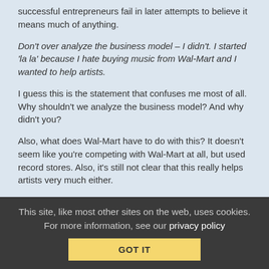successful entrepreneurs fail in later attempts to believe it means much of anything.
Don't over analyze the business model – I didn't. I started 'la la' because I hate buying music from Wal-Mart and I wanted to help artists.
I guess this is the statement that confuses me most of all. Why shouldn't we analyze the business model? And why didn't you?
Also, what does Wal-Mart have to do with this? It doesn't seem like you're competing with Wal-Mart at all, but used record stores. Also, it's still not clear that this really helps artists very much either.
Finally, considering that many people feel that CDs and albums are a dying breed, it seems odd to try to start a business focused on them.
This site, like most other sites on the web, uses cookies. For more information, see our privacy policy
GOT IT